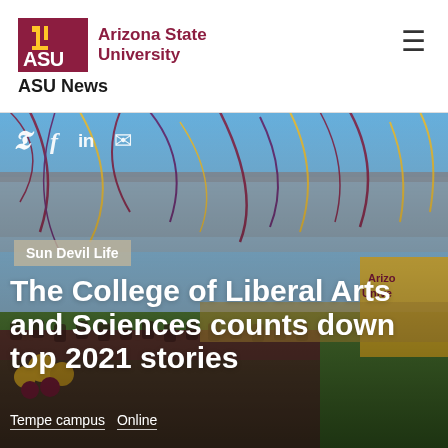ASU — Arizona State University
ASU News
[Figure (photo): ASU graduation ceremony at a stadium with confetti streaming in the air, graduates seated in maroon robes, yellow balloons and ASU banner visible in background. Social media share icons (Twitter, Facebook, LinkedIn, Email) overlaid at top-left. Category tag 'Sun Devil Life' overlaid mid-image. Article title 'The College of Liberal Arts and Sciences counts down top 2021 stories' overlaid in large white bold text. Location tags 'Tempe campus' and 'Online' at bottom.]
The College of Liberal Arts and Sciences counts down top 2021 stories
Sun Devil Life
Tempe campus   Online